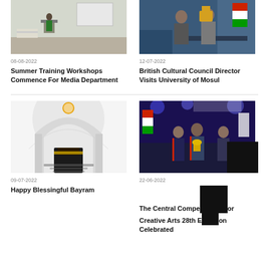[Figure (photo): Training workshop photo — person at podium in classroom setting]
08-08-2022
Summer Training Workshops Commence For Media Department
[Figure (photo): Two men in formal suits, one receiving an award plaque]
12-07-2022
British Cultural Council Director Visits University of Mosul
[Figure (illustration): University of Mosul Eid Al-Adha greeting graphic with mosque and Kaaba imagery, Arabic text]
09-07-2022
Happy Blessingful Bayram
[Figure (photo): Men in suits on a stage, one receiving a trophy at Creative Arts competition]
22-06-2022
The Central Competition for Creative Arts 28th Edition Celebrated